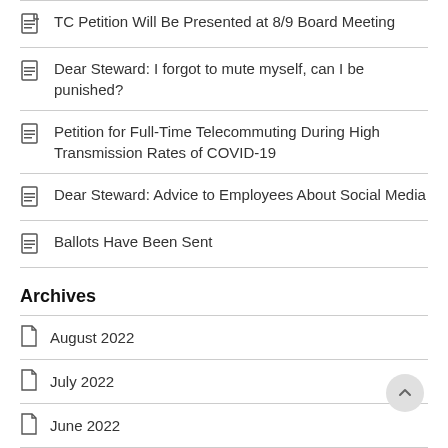TC Petition Will Be Presented at 8/9 Board Meeting
Dear Steward: I forgot to mute myself, can I be punished?
Petition for Full-Time Telecommuting During High Transmission Rates of COVID-19
Dear Steward: Advice to Employees About Social Media
Ballots Have Been Sent
Archives
August 2022
July 2022
June 2022
May 2022
April 2022